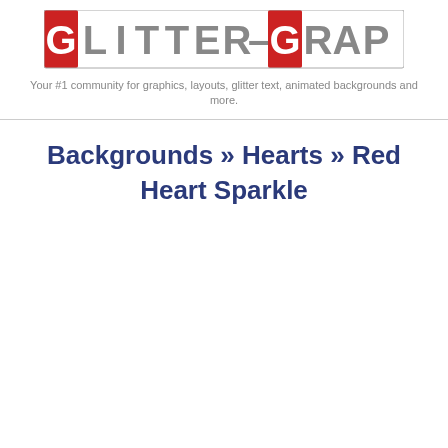[Figure (logo): Glitter-Graphics.com logo with block letters, some letters with red background]
Your #1 community for graphics, layouts, glitter text, animated backgrounds and more.
Backgrounds » Hearts » Red Heart Sparkle